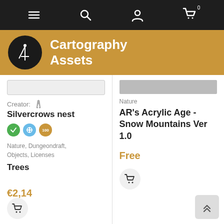Navigation bar with menu, search, user, and cart icons
Cartography Assets
Creator: Silvercrows nest
Nature, Dungeondraft, Objects, Licenses
Trees
€2,14
Nature
AR's Acrylic Age - Snow Mountains Ver 1.0
Free